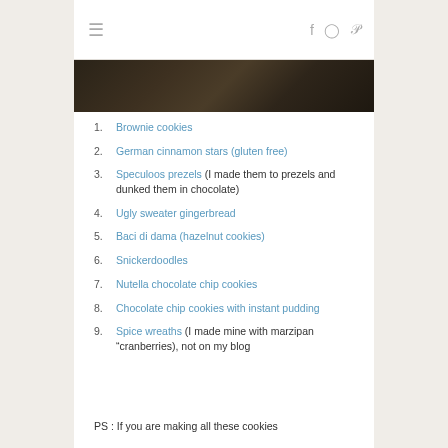☰  f  ⊙  P
[Figure (photo): Dark brown wooden surface or background image strip]
1. Brownie cookies
2. German cinnamon stars (gluten free)
3. Speculoos prezels (I made them to prezels and dunked them in chocolate)
4. Ugly sweater gingerbread
5. Baci di dama (hazelnut cookies)
6. Snickerdoodles
7. Nutella chocolate chip cookies
8. Chocolate chip cookies with instant pudding
9. Spice wreaths (I made mine with marzipan “cranberries), not on my blog
PS : If you are making all these cookies